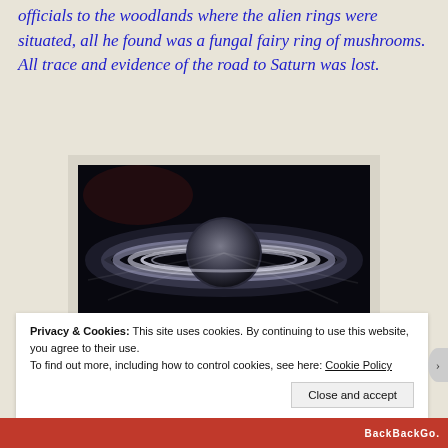officials to the woodlands where the alien rings were situated, all he found was a fungal fairy ring of mushrooms.
All trace and evidence of the road to Saturn was lost.
[Figure (photo): Photograph of Saturn with its rings glowing against a dark space background, viewed from slightly above the ring plane.]
Privacy & Cookies: This site uses cookies. By continuing to use this website, you agree to their use.
To find out more, including how to control cookies, see here: Cookie Policy
Close and accept